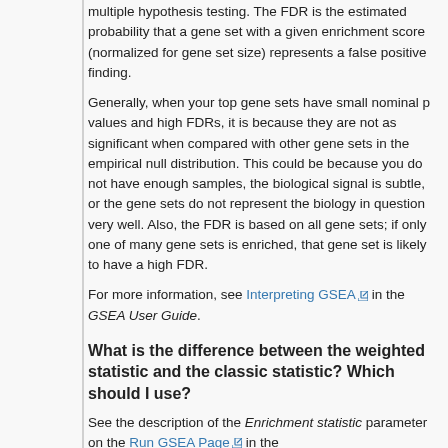multiple hypothesis testing. The FDR is the estimated probability that a gene set with a given enrichment score (normalized for gene set size) represents a false positive finding.
Generally, when your top gene sets have small nominal p values and high FDRs, it is because they are not as significant when compared with other gene sets in the empirical null distribution. This could be because you do not have enough samples, the biological signal is subtle, or the gene sets do not represent the biology in question very well. Also, the FDR is based on all gene sets; if only one of many gene sets is enriched, that gene set is likely to have a high FDR.
For more information, see Interpreting GSEA in the GSEA User Guide.
What is the difference between the weighted statistic and the classic statistic? Which should I use?
See the description of the Enrichment statistic parameter on the Run GSEA Page in the